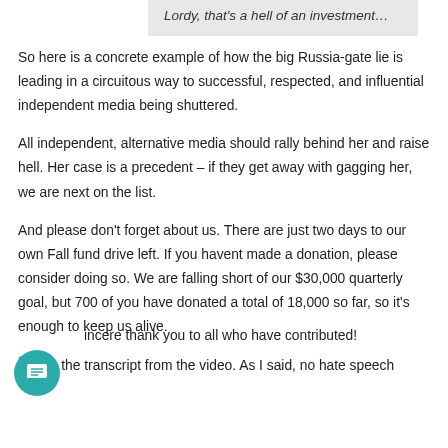Lordy, that's a hell of an investment...
So here is a concrete example of how the big Russia-gate lie is leading in a circuitous way to successful, respected, and influential independent media being shuttered.
All independent, alternative media should rally behind her and raise hell. Her case is a precedent – if they get away with gagging her, we are next on the list.
And please don't forget about us. There are just two days to our own Fall fund drive left. If you havent made a donation, please consider doing so. We are falling short of our $30,000 quarterly goal, but 700 of you have donated a total of 18,000 so far, so it's enough to keep us alive.
80
incere thank you to all who have contributed!
Here's the transcript from the video. As I said, no hate speech